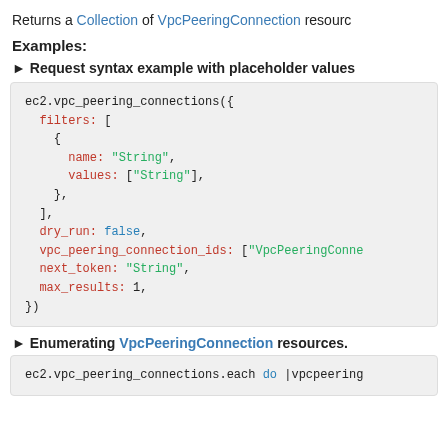Returns a Collection of VpcPeeringConnection resources
Examples:
► Request syntax example with placeholder values
[Figure (screenshot): Code block showing ec2.vpc_peering_connections() call with filters, dry_run, vpc_peering_connection_ids, next_token, and max_results parameters in Ruby-style syntax with syntax highlighting]
► Enumerating VpcPeeringConnection resources.
[Figure (screenshot): Code block showing ec2.vpc_peering_connections.each do |vpcpeering... in Ruby-style syntax]